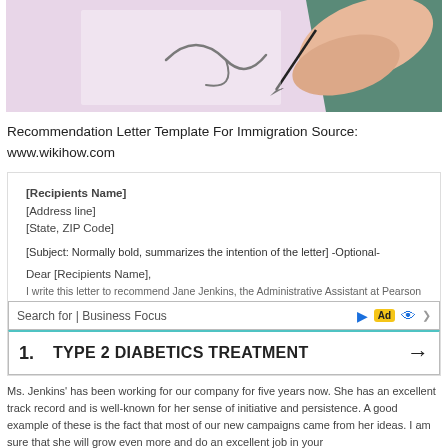[Figure (illustration): Partial illustration showing a signing/letter writing scene with a lavender and teal background, a hand with a pen visible.]
Recommendation Letter Template For Immigration Source: www.wikihow.com
[Figure (screenshot): Screenshot of a letter template showing: [Recipients Name], [Address line], [State, ZIP Code], [Subject: Normally bold, summarizes the intention of the letter] -Optional-, Dear [Recipients Name],]
Ms. Jenkins' has been working for our company for five years now. She has an excellent track record and is well-known for her sense of initiative and persistence. A good example of these is the fact that most of our new campaigns came from her ideas. I am sure that she will grow even more and do an excellent job in your